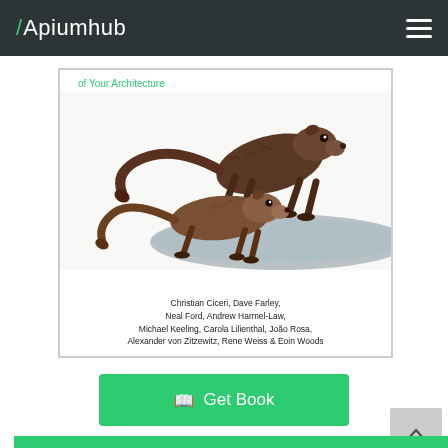Apiumhub
[Figure (illustration): Book cover showing two mongoose-like animals on a branch with text 'of Your Architecture' and author names: Christian Ciceri, Dave Farley, Neal Ford, Andrew Harmel-Law, Michael Keeling, Carola Lilienthal, João Rosa, Alexander von Zitzewitz, Rene Weiss & Eoin Woods]
Get Book
[Figure (other): Scroll to top button with upward arrow, light gray background]